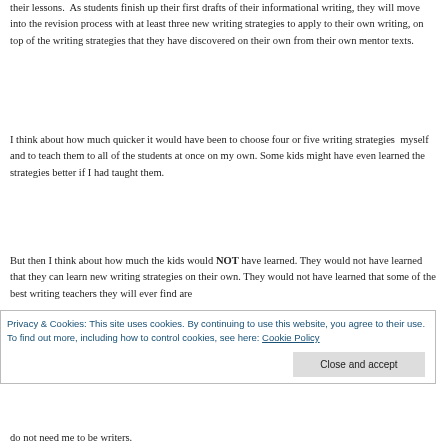their lessons.  As students finish up their first drafts of their informational writing, they will move into the revision process with at least three new writing strategies to apply to their own writing, on top of the writing strategies that they have discovered on their own from their own mentor texts.
I think about how much quicker it would have been to choose four or five writing strategies  myself and to teach them to all of the students at once on my own. Some kids might have even learned the strategies better if I had taught them.
But then I think about how much the kids would NOT have learned. They would not have learned that they can learn new writing strategies on their own. They would not have learned that some of the best writing teachers they will ever find are the books that they read. They would not have learned that
Privacy & Cookies: This site uses cookies. By continuing to use this website, you agree to their use.
To find out more, including how to control cookies, see here: Cookie Policy
Close and accept
do not need me to be writers.